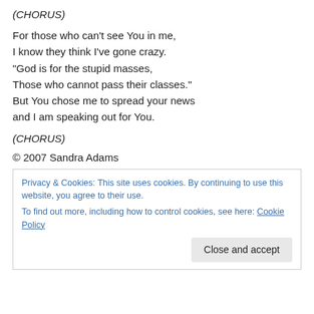(CHORUS)
For those who can't see You in me,
I know they think I've gone crazy.
“God is for the stupid masses,
Those who cannot pass their classes.”
But You chose me to spread your news
and I am speaking out for You.
(CHORUS)
© 2007 Sandra Adams
Privacy & Cookies: This site uses cookies. By continuing to use this website, you agree to their use.
To find out more, including how to control cookies, see here: Cookie Policy